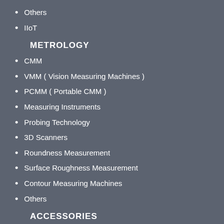Others
IIoT
METROLOGY
CMM
VMM ( Vision Measuring Machines )
PCMM ( Portable CMM )
Measuring Instruments
Probing Technology
3D Scanners
Roundness Measurement
Surface Roughness Measurement
Contour Measuring Machines
Others
ACCESSORIES
Workholding
Toolholders
Spindles
Coolants
Others